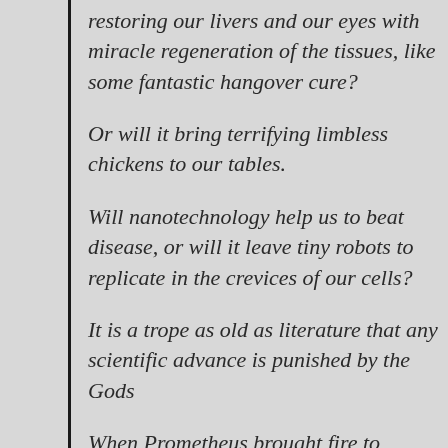restoring our livers and our eyes with miracle regeneration of the tissues, like some fantastic hangover cure?
Or will it bring terrifying limbless chickens to our tables.
Will nanotechnology help us to beat disease, or will it leave tiny robots to replicate in the crevices of our cells?
It is a trope as old as literature that any scientific advance is punished by the Gods
When Prometheus brought fire to mankind